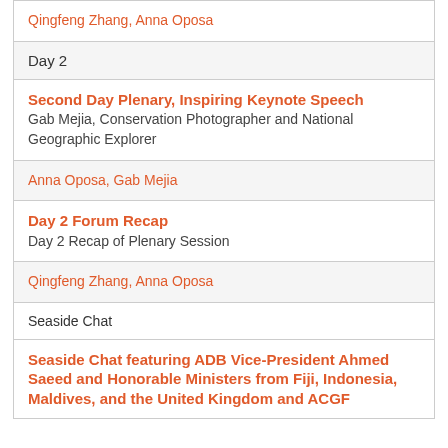Qingfeng Zhang, Anna Oposa
Day 2
Second Day Plenary, Inspiring Keynote Speech
Gab Mejia, Conservation Photographer and National Geographic Explorer
Anna Oposa, Gab Mejia
Day 2 Forum Recap
Day 2 Recap of Plenary Session
Qingfeng Zhang, Anna Oposa
Seaside Chat
Seaside Chat featuring ADB Vice-President Ahmed Saeed and Honorable Ministers from Fiji, Indonesia, Maldives, and the United Kingdom and ACGF